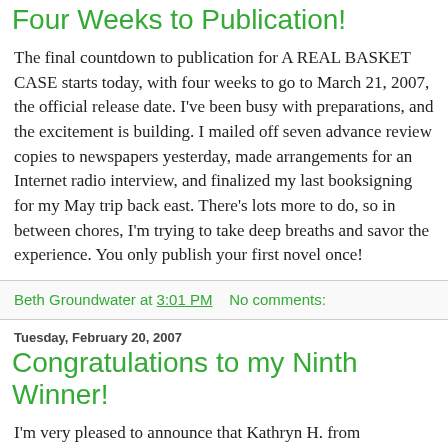Four Weeks to Publication!
The final countdown to publication for A REAL BASKET CASE starts today, with four weeks to go to March 21, 2007, the official release date. I've been busy with preparations, and the excitement is building. I mailed off seven advance review copies to newspapers yesterday, made arrangements for an Internet radio interview, and finalized my last booksigning for my May trip back east. There's lots more to do, so in between chores, I'm trying to take deep breaths and savor the experience. You only publish your first novel once!
Beth Groundwater at 3:01 PM    No comments:
Tuesday, February 20, 2007
Congratulations to my Ninth Winner!
I'm very pleased to announce that Kathryn H. from Redmond, WA is the ninth winner in my email newsletter gift basket contest. She's the first one who picked the relax-a-